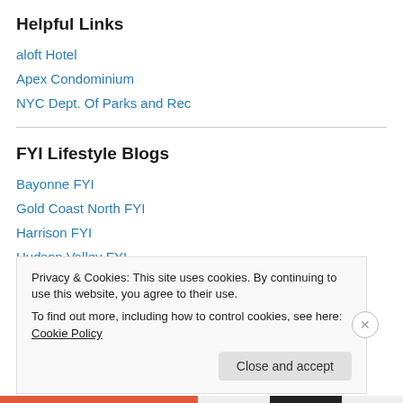Helpful Links
aloft Hotel
Apex Condominium
NYC Dept. Of Parks and Rec
FYI Lifestyle Blogs
Bayonne FYI
Gold Coast North FYI
Harrison FYI
Hudson Valley FYI
Jersey City FYI
Privacy & Cookies: This site uses cookies. By continuing to use this website, you agree to their use.
To find out more, including how to control cookies, see here: Cookie Policy
Close and accept